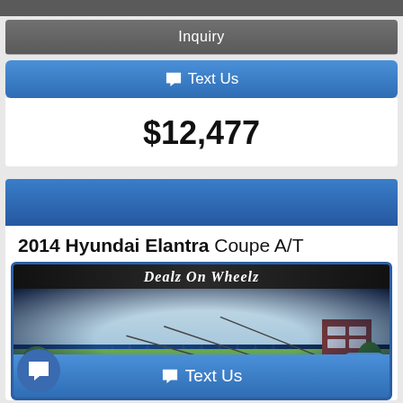Inquiry
Text Us
$12,477
2014 Hyundai Elantra Coupe A/T
[Figure (photo): Dealz On Wheelz dealer logo with circular photo showing a rural scene with a building, trees, power lines, and green field under a blue sky]
Text Us